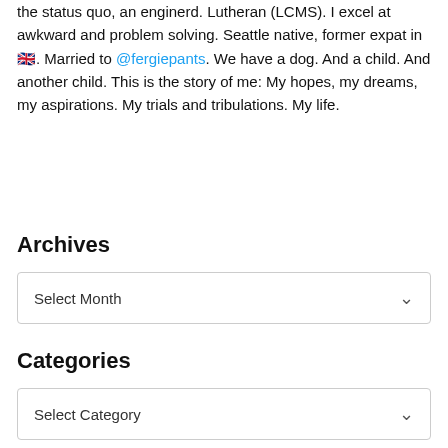the status quo, an enginerd. Lutheran (LCMS). I excel at awkward and problem solving. Seattle native, former expat in 🇬🇧. Married to @fergiepants. We have a dog. And a child. And another child. This is the story of me: My hopes, my dreams, my aspirations. My trials and tribulations. My life.
Archives
Select Month
Categories
Select Category